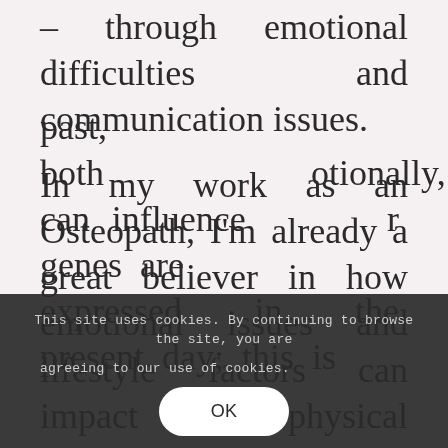– through emotional difficulties and communication issues.
In my work as an Osteopath, I'm already a great believer in how emotional issues and lifestyle factors can impact on our physical wellbeing.  But it's fascinating to consider that we may need to examine looking even further into the past for answers to what ails us today
past, both physically and emotionally, can influence how our genes are expressed in the present day – this is
This site uses cookies. By continuing to browse the site, you are agreeing to our use of cookies.
OK